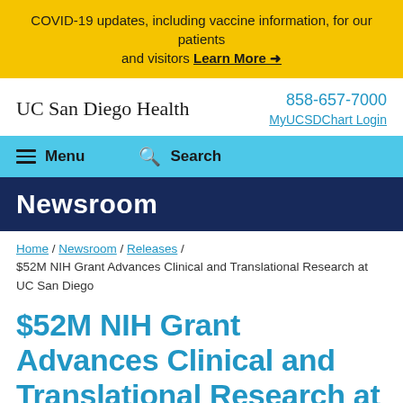COVID-19 updates, including vaccine information, for our patients and visitors Learn More →
[Figure (logo): UC San Diego Health logo text]
858-657-7000
MyUCSDChart Login
≡ Menu 🔍 Search
Newsroom
Home / Newsroom / Releases / $52M NIH Grant Advances Clinical and Translational Research at UC San Diego
$52M NIH Grant Advances Clinical and Translational Research at UC